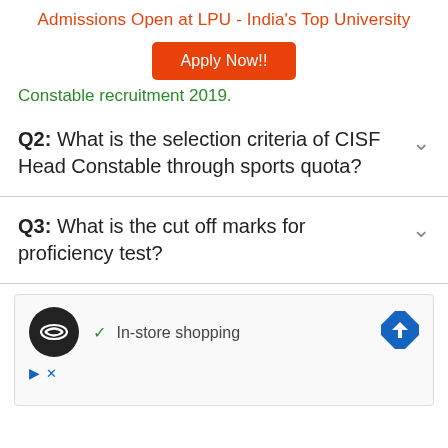Admissions Open at LPU - India's Top University
[Figure (other): Apply Now!! button (orange/red)]
Constable recruitment 2019.
Q2: What is the selection criteria of CISF Head Constable through sports quota?
Q3: What is the cut off marks for proficiency test?
[Figure (other): Advertisement box showing a map/navigation app with In-store shopping label and a blue navigation arrow icon]